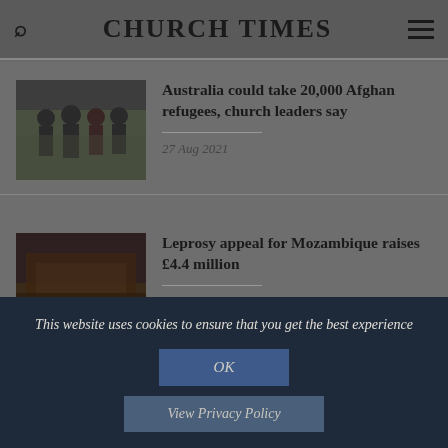CHURCH TIMES
[Figure (photo): Photo of people, Afghan refugees]
Australia could take 20,000 Afghan refugees, church leaders say
27 Aug 2021
[Figure (photo): Dark reddish photo related to leprosy/Mozambique]
Leprosy appeal for Mozambique raises £4.4 million
03 Sep 2021
This website uses cookies to ensure that you get the best experience
OK
View Privacy Policy